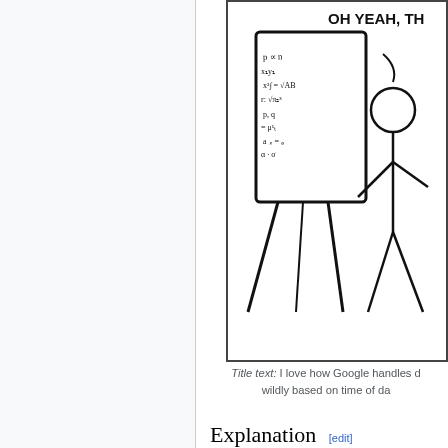[Figure (illustration): XKCD-style comic strip showing a stick figure standing next to a whiteboard/easel with equations written on it. Speech bubble text partially visible: 'OH YEAH, TH... W...']
Title text: I love how Google handles d... wildly based on time of da...
Explanation [edit]
The Fermi paradox describes the contradiction between the high probability of extraterrestrial life and the lack of empirical evidence thereof. Age and size of the universe suggest that intelligent life should have occurred somewhere, and that some alien civilizations should have ...